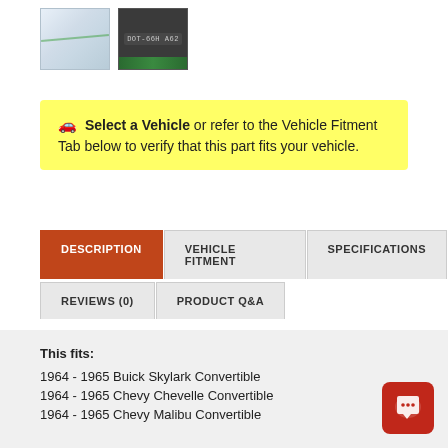[Figure (photo): Two product thumbnail images: left shows a clear glass windshield edge, right shows a dark background with text 'DOT-66H A82' and green band at bottom]
🚗 Select a Vehicle or refer to the Vehicle Fitment Tab below to verify that this part fits your vehicle.
DESCRIPTION | VEHICLE FITMENT | SPECIFICATIONS | REVIEWS (0) | PRODUCT Q&A
This fits:
1964 - 1965 Buick Skylark Convertible
1964 - 1965 Chevy Chevelle Convertible
1964 - 1965 Chevy Malibu Convertible